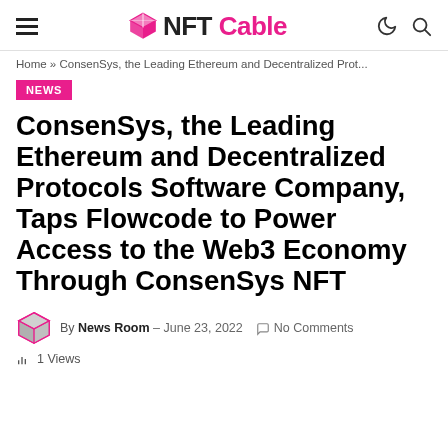NFT Cable
Home » ConsenSys, the Leading Ethereum and Decentralized Prot...
NEWS
ConsenSys, the Leading Ethereum and Decentralized Protocols Software Company, Taps Flowcode to Power Access to the Web3 Economy Through ConsenSys NFT
By News Room – June 23, 2022  No Comments
1 Views